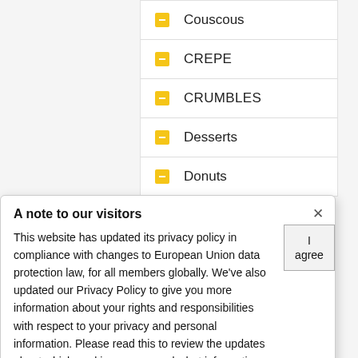Couscous
CREPE
CRUMBLES
Desserts
Donuts
dried vegetable
fish
ground
A note to our visitors
This website has updated its privacy policy in compliance with changes to European Union data protection law, for all members globally. We've also updated our Privacy Policy to give you more information about your rights and responsibilities with respect to your privacy and personal information. Please read this to review the updates about which cookies we use and what information we collect on our site. By continuing to use this site, you are agreeing to our updated privacy policy.
OMELET